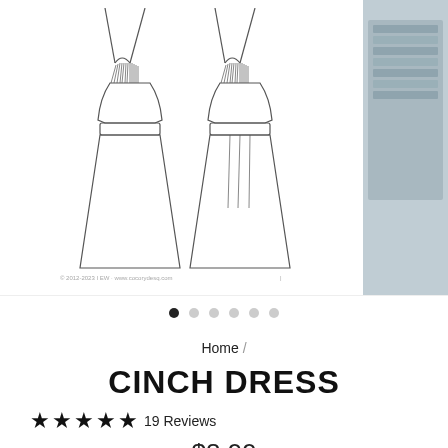[Figure (illustration): Line drawing sketches of a cinch dress, front and back views, with spaghetti straps and gathered waist detail. Small copyright/website text below sketches. Partial photo of dress on right side.]
● ○ ○ ○ ○ ○ (carousel navigation dots)
Home /
CINCH DRESS
★★★★★ 19 Reviews
$8.00
afterpay available for orders over $50 ℹ
Shipping calculated at checkout.